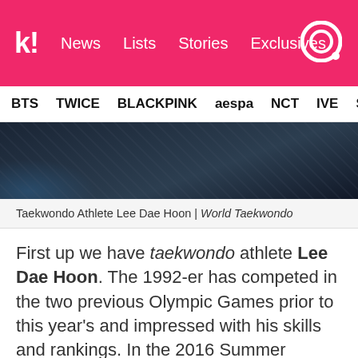k! News Lists Stories Exclusives
BTS TWICE BLACKPINK aespa NCT IVE SHIN
[Figure (photo): Close-up photo of a dark athletic uniform/gear, likely belonging to Korean taekwondo athlete Lee Dae Hoon, with a blue glow at the bottom left.]
Taekwondo Athlete Lee Dae Hoon | World Taekwondo
First up we have taekwondo athlete Lee Dae Hoon. The 1992-er has competed in the two previous Olympic Games prior to this year's and impressed with his skills and rankings. In the 2016 Summer Olympics, he won the bronze medal and in the 2012 Summer Olympics, he brought home the silver medal. Lee Dae Hoon has been competing during the Olympic Games Tokyo 2020, but his time was cut short as he